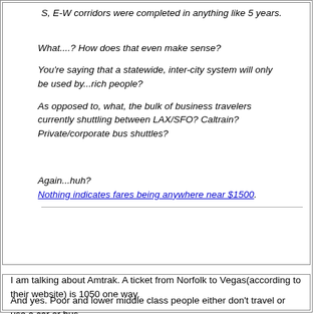S, E-W corridors were completed in anything like 5 years.
What....? How does that even make sense?
You're saying that a statewide, inter-city system will only be used by...rich people?
As opposed to, what, the bulk of business travelers currently shuttling between LAX/SFO? Caltrain? Private/corporate bus shuttles?
Again...huh?
Nothing indicates fares being anywhere near $1500.
I am talking about Amtrak. A ticket from Norfolk to Vegas(according to their website) is 1050 one way.
And yes. Poor and lower middle class people either don't travel or use a car or bus.